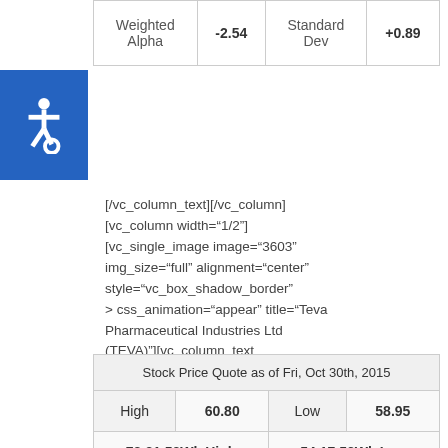| Weighted Alpha | -2.54 | Standard Dev | +0.89 |
| --- | --- | --- | --- |
[Figure (other): Blue accessibility icon with wheelchair symbol]
[/vc_column_text][/vc_column][vc_column width="1/2"][vc_single_image image="3603" img_size="full" alignment="center" style="vc_box_shadow_border" onclick="link_image" css_animation="appear" title="Teva Pharmaceutical Industries Ltd (TEVA)"][vc_column_text css_animation="right-to-left"]
| Stock Price Quote as of Fri, Oct 30th, 2015 |
| --- |
| High | 60.80 | Low | 58.95 |
| 72.31 52Wk High |  | 54.17 52Wk Low |  |